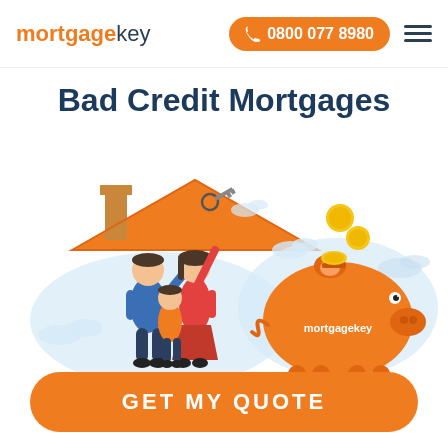mortgage key | 0800 077 8980
Bad Credit Mortgages
[Figure (illustration): Two illustrations side by side: left shows a family (man, woman, child) standing in front of an orange house, woman holding a key; right shows an orange piggy bank with 'mortgagekey' text and gold coins dropping in, on a light blue cloud background.]
GET MY QUOTE